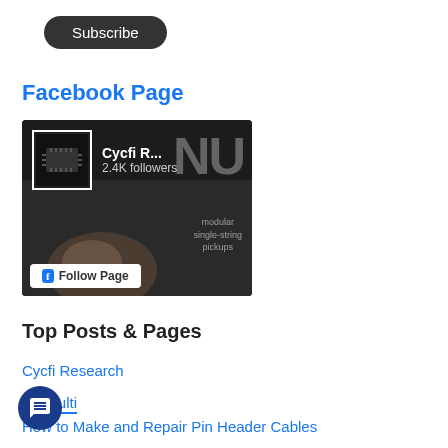[Figure (screenshot): Subscribe button — dark rounded pill-shaped button with white text]
Facebook Page
[Figure (screenshot): Facebook page widget showing Cycfi R... with 2.4K followers, NU branding, modular single-string pickups text, and a Follow Page button]
Top Posts & Pages
Cycfi Research
Nu Multi
How to Make and Repair Pin Header Cables